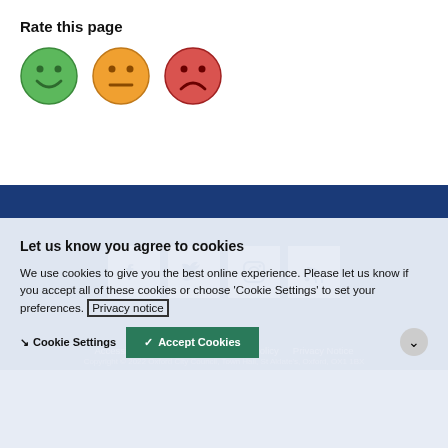Rate this page
[Figure (illustration): Three emoji faces: happy (green), neutral (orange), sad (red) for rating the page]
[Figure (infographic): Social media icons (Facebook, Twitter, Instagram, RSS) as white icons on dark blue background]
Accessibility   Contact Us   Cookie Policy   Privacy Notice   Site Map
Copyright © 2022 Oxford City Council, Town Hall, St Aldate's, Oxford, OX1 1BX
Let us know you agree to cookies
We use cookies to give you the best online experience. Please let us know if you accept all of these cookies or choose 'Cookie Settings' to set your preferences. Privacy notice